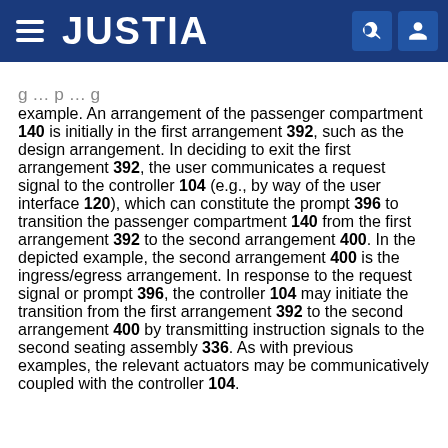JUSTIA
example. An arrangement of the passenger compartment 140 is initially in the first arrangement 392, such as the design arrangement. In deciding to exit the first arrangement 392, the user communicates a request signal to the controller 104 (e.g., by way of the user interface 120), which can constitute the prompt 396 to transition the passenger compartment 140 from the first arrangement 392 to the second arrangement 400. In the depicted example, the second arrangement 400 is the ingress/egress arrangement. In response to the request signal or prompt 396, the controller 104 may initiate the transition from the first arrangement 392 to the second arrangement 400 by transmitting instruction signals to the second seating assembly 336. As with previous examples, the relevant actuators may be communicatively coupled with the controller 104.